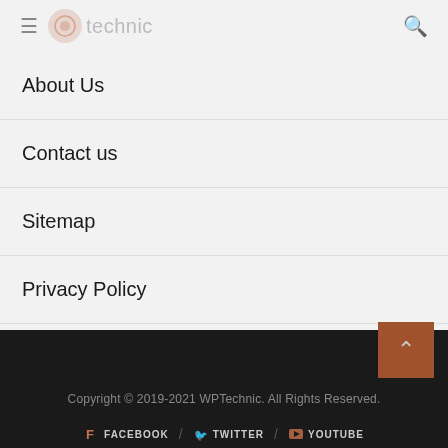wptechnic (navigation header with hamburger menu, logo, and search icon)
About Us
Contact us
Sitemap
Privacy Policy
WordPress Glossary
Copyright © 2019-2021 WPTechnic. All Rights Reserved. FACEBOOK / TWITTER / YOUTUBE